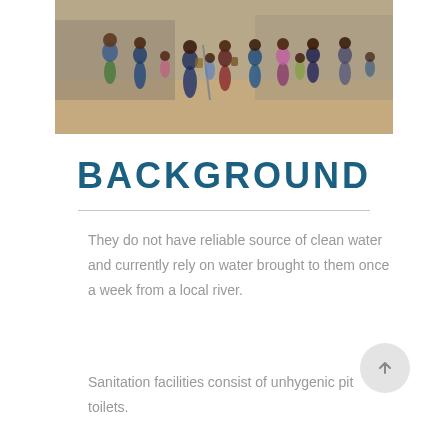[Figure (photo): Photo of a crowd of school children playing or gathered outdoors on a sandy/dirt ground, many wearing blue school uniforms and backpacks.]
BACKGROUND
They do not have reliable source of clean water and currently rely on water brought to them once a week from a local river.
Sanitation facilities consist of unhygenic pit toilets.
They do not currently have adequate...